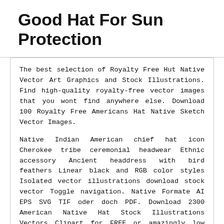Good Hat For Sun Protection
The best selection of Royalty Free Hut Native Vector Art Graphics and Stock Illustrations. Find high-quality royalty-free vector images that you wont find anywhere else. Download 100 Royalty Free Americans Hat Native Sketch Vector Images.
Native Indian American chief hat icon Cherokee tribe ceremonial headwear Ethnic accessory Ancient headdress with bird feathers Linear black and RGB color styles Isolated vector illustrations download stock vector Toggle navigation. Native Formate AI EPS SVG TIF oder doch PDF. Download 2300 American Native Hat Stock Illustrations Vectors Clipart for FREE or amazingly low rates.
Download 4092 Native Hat Stock Illustrations Vectors Clipart for FREE or amazingly low rates. The best selection of Royalty Free Americans Hat Native Sketch Vector Art Graphics and Stock Illustrations. Alle Fakten und